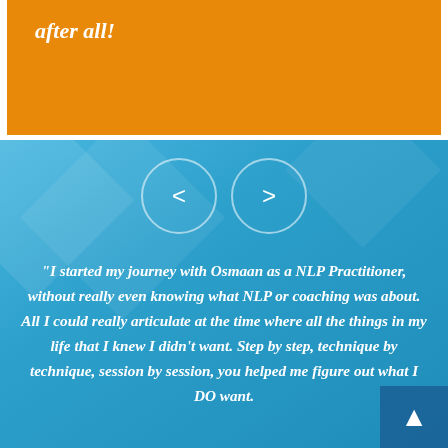after all!
[Figure (screenshot): Blue section with navigation carousel arrows (previous < and next >) in circular outlines, and a decorative background with translucent diamond/rhombus shapes]
"I started my journey with Osmaan as a NLP Practitioner, without really even knowing what NLP or coaching was about. All I could really articulate at the time where all the things in my life that I knew I didn't want. Step by step, technique by technique, session by session, you helped me figure out what I DO want.